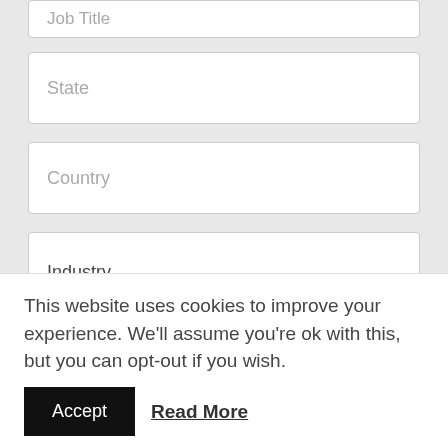Job Title (truncated/partially visible at top)
State
Country
Industry
SIGN ME UP
This website uses cookies to improve your experience. We'll assume you're ok with this, but you can opt-out if you wish.
Accept
Read More